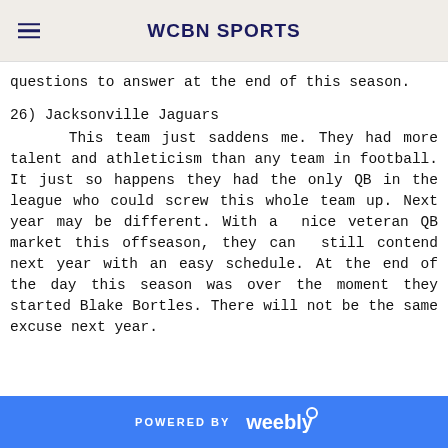WCBN SPORTS
questions to answer at the end of this season.
26) Jacksonville Jaguars
This team just saddens me. They had more talent and athleticism than any team in football. It just so happens they had the only QB in the league who could screw this whole team up. Next year may be different. With a nice veteran QB market this offseason, they can still contend next year with an easy schedule. At the end of the day this season was over the moment they started Blake Bortles. There will not be the same excuse next year.
POWERED BY weebly